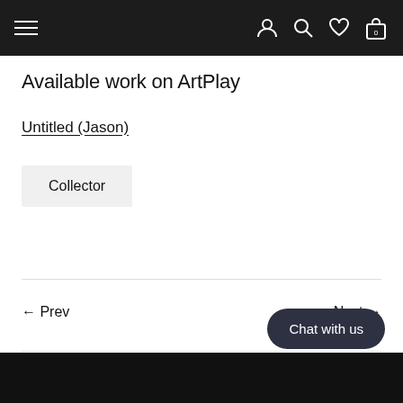Navigation bar with menu, user, search, wishlist, and cart icons
Available work on ArtPlay
Untitled (Jason)
Collector
← Prev
Next →
Chat with us